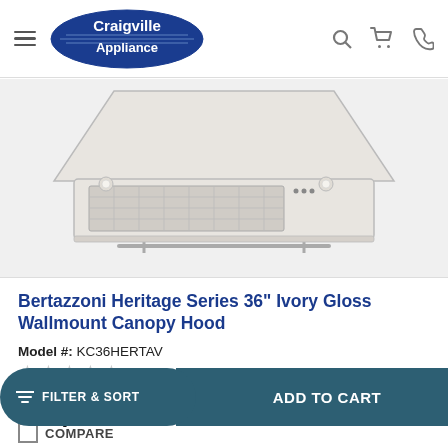Craigville Appliance — navigation header with hamburger menu, logo, search, cart, and phone icons
[Figure (photo): Bertazzoni Heritage Series 36 inch Ivory Gloss Wallmount Canopy Hood product image showing the underside of the range hood in ivory/stainless finish]
Bertazzoni Heritage Series 36" Ivory Gloss Wallmount Canopy Hood
Model #: KC36HERTAV
★★★★★ (0)
$1,299.00
FILTER & SORT | ADD TO CART
COMPARE